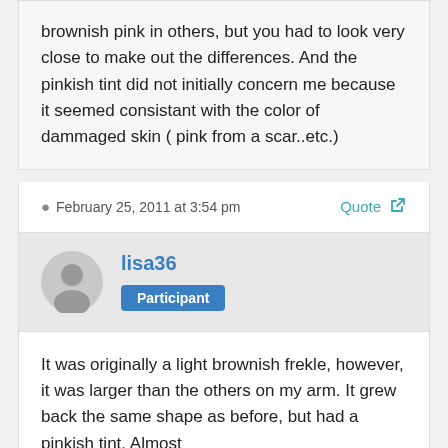brownish pink in others, but you had to look very close to make out the differences.  And the pinkish tint did not initially concern me because it seemed consistant with the color of dammaged skin ( pink from a scar..etc.)
February 25, 2011 at 3:54 pm
Quote
lisa36
Participant
It was originally a light brownish frekle, however, it was larger than the others on my arm.  It grew back the same shape as before, but had a pinkish tint.  Almost